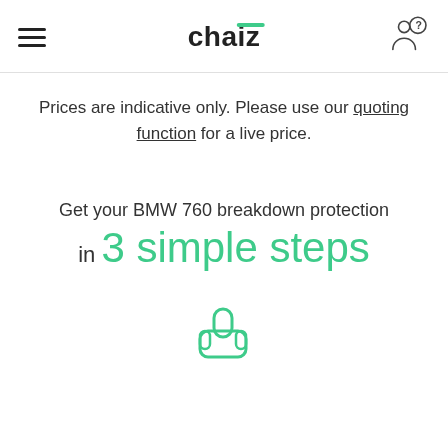chaiz
Prices are indicative only. Please use our quoting function for a live price.
Get your BMW 760 breakdown protection in 3 simple steps
[Figure (illustration): Green hand/finger icon pointing upward, partially visible at bottom of page]